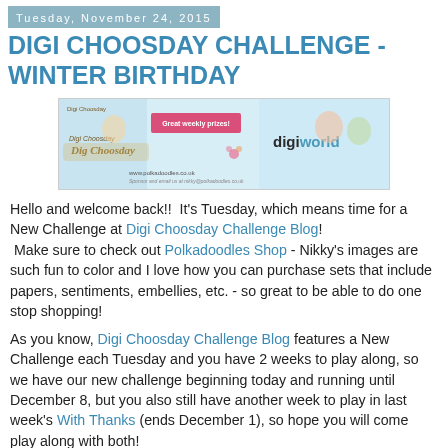Tuesday, November 24, 2015
DIGI CHOOSDAY CHALLENGE - WINTER BIRTHDAY
[Figure (illustration): Digi Choosday Challenge banner with cartoon characters, pink 'Great weekly prizes!' box, cursive Digi Choosday text, and digiworld branding on right side]
Hello and welcome back!!  It's Tuesday, which means time for a New Challenge at Digi Choosday Challenge Blog!  Make sure to check out Polkadoodles Shop - Nikky's images are such fun to color and I love how you can purchase sets that include papers, sentiments, embellies, etc. - so great to be able to do one stop shopping!
As you know, Digi Choosday Challenge Blog features a New Challenge each Tuesday and you have 2 weeks to play along, so we have our new challenge beginning today and running until December 8, but you also still have another week to play in last week's With Thanks (ends December 1), so hope you will come play along with both!